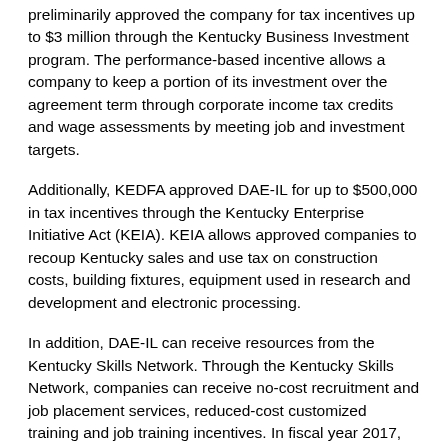preliminarily approved the company for tax incentives up to $3 million through the Kentucky Business Investment program. The performance-based incentive allows a company to keep a portion of its investment over the agreement term through corporate income tax credits and wage assessments by meeting job and investment targets.
Additionally, KEDFA approved DAE-IL for up to $500,000 in tax incentives through the Kentucky Enterprise Initiative Act (KEIA). KEIA allows approved companies to recoup Kentucky sales and use tax on construction costs, building fixtures, equipment used in research and development and electronic processing.
In addition, DAE-IL can receive resources from the Kentucky Skills Network. Through the Kentucky Skills Network, companies can receive no-cost recruitment and job placement services, reduced-cost customized training and job training incentives. In fiscal year 2017, the Kentucky Skills Network provided training for more than 120,000 Kentuckians and 5,700 companies from a variety of industry sectors.
A detailed community profile for Calloway County can be viewed here.